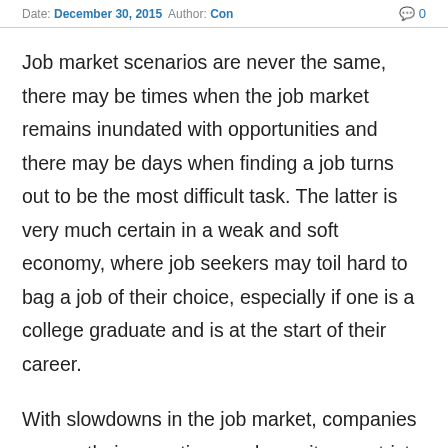Date: December 30, 2015  Author: Con   0
Job market scenarios are never the same, there may be times when the job market remains inundated with opportunities and there may be days when finding a job turns out to be the most difficult task. The latter is very much certain in a weak and soft economy, where job seekers may toil hard to bag a job of their choice, especially if one is a college graduate and is at the start of their career.
With slowdowns in the job market, companies narrow their operations and recruiters restrict their hiring activities to the potential candidates. This creates stern competition and bagging a job in such a situation may be more difficult than ever, but there are